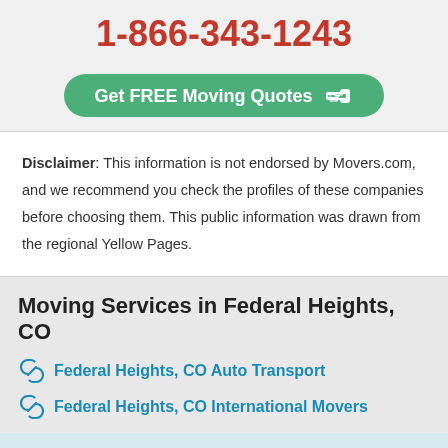1-866-343-1243
Get FREE Moving Quotes
Disclaimer: This information is not endorsed by Movers.com, and we recommend you check the profiles of these companies before choosing them. This public information was drawn from the regional Yellow Pages.
Moving Services in Federal Heights, CO
Federal Heights, CO Auto Transport
Federal Heights, CO International Movers